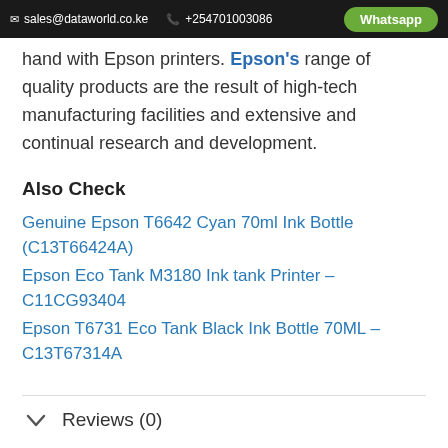sales@dataworld.co.ke  +254701003086  Whatsapp
hand with Epson printers. Epson's range of quality products are the result of high-tech manufacturing facilities and extensive and continual research and development.
Also Check
Genuine Epson T6642 Cyan 70ml Ink Bottle (C13T66424A)
Epson Eco Tank M3180 Ink tank Printer – C11CG93404
Epson T6731 Eco Tank Black Ink Bottle 70ML – C13T67314A
Reviews (0)